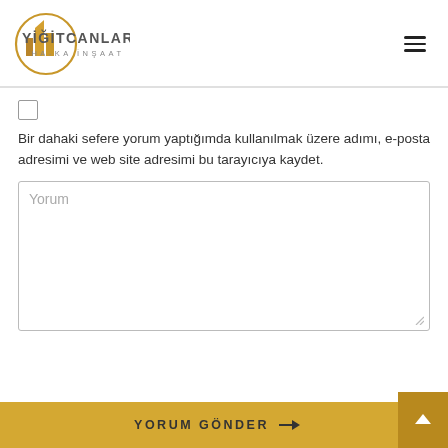[Figure (logo): Yiğitcanlar Ha-Ka İnşaat logo with golden building icon and text]
Bir dahaki sefere yorum yaptığımda kullanılmak üzere adımı, e-posta adresimi ve web site adresimi bu tarayıcıya kaydet.
Yorum
YORUM GÖNDER →